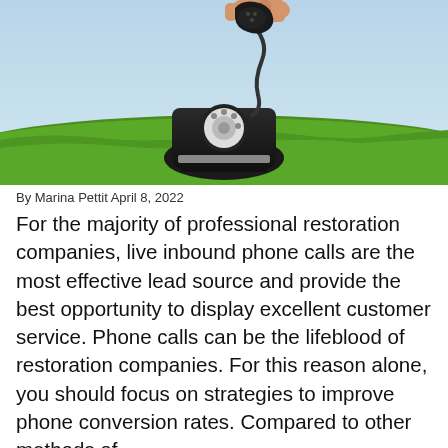[Figure (photo): A hand holding the handset of a black rotary telephone, which sits on green grass against a blue sky background.]
By Marina Pettit April 8, 2022
For the majority of professional restoration companies, live inbound phone calls are the most effective lead source and provide the best opportunity to display excellent customer service. Phone calls can be the lifeblood of restoration companies. For this reason alone, you should focus on strategies to improve phone conversion rates. Compared to other methods of